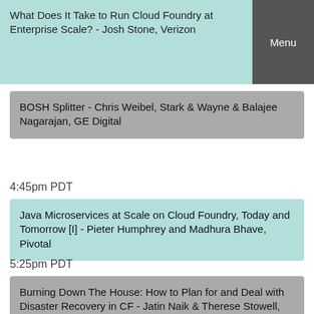What Does It Take to Run Cloud Foundry at Enterprise Scale? - Josh Stone, Verizon
Menu
BOSH Splitter - Chris Weibel, Stark & Wayne & Balajee Nagarajan, GE Digital
4:45pm PDT
Java Microservices at Scale on Cloud Foundry, Today and Tomorrow [I] - Pieter Humphrey and Madhura Bhave, Pivotal
5:25pm PDT
Burning Down The House: How to Plan for and Deal with Disaster Recovery in CF - Jatin Naik & Therese Stowell, Pivotal